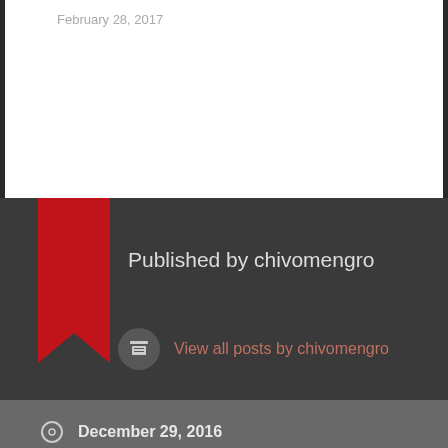February 28, 2017
Published by chivomengro
View all posts by chivomengro
December 29, 2016
December 2016, Feature, Jordan Upshaw
Pull Yourself Together: A Reflection
Arrival: A Plea For Understanding